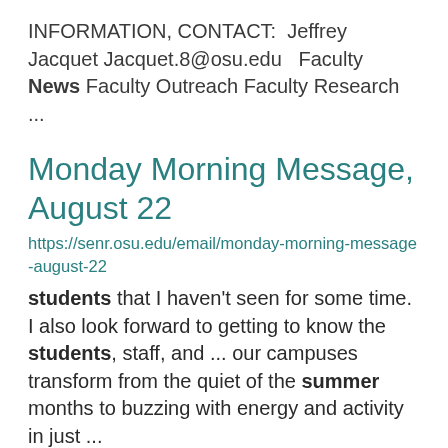INFORMATION, CONTACT:  Jeffrey Jacquet Jacquet.8@osu.edu   Faculty News Faculty Outreach Faculty Research ...
Monday Morning Message, August 22
https://senr.osu.edu/email/monday-morning-message-august-22
students that I haven't seen for some time. I also look forward to getting to know the students, staff, and ... our campuses transform from the quiet of the summer months to buzzing with energy and activity in just ...